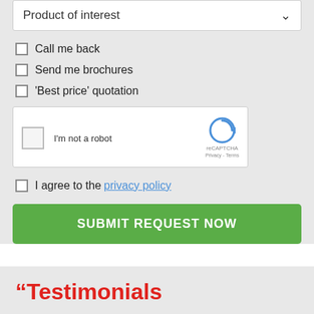[Figure (screenshot): Dropdown field labeled 'Product of interest' with a down-arrow chevron]
Call me back
Send me brochures
'Best price' quotation
[Figure (screenshot): reCAPTCHA widget with checkbox labeled 'I'm not a robot']
I agree to the privacy policy
SUBMIT REQUEST NOW
Testimonials
“Very occasionally you come across a company which